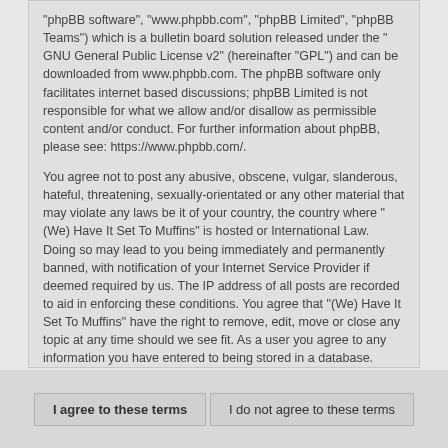"phpBB software", "www.phpbb.com", "phpBB Limited", "phpBB Teams") which is a bulletin board solution released under the " GNU General Public License v2" (hereinafter "GPL") and can be downloaded from www.phpbb.com. The phpBB software only facilitates internet based discussions; phpBB Limited is not responsible for what we allow and/or disallow as permissible content and/or conduct. For further information about phpBB, please see: https://www.phpbb.com/.
You agree not to post any abusive, obscene, vulgar, slanderous, hateful, threatening, sexually-orientated or any other material that may violate any laws be it of your country, the country where "(We) Have It Set To Muffins" is hosted or International Law. Doing so may lead to you being immediately and permanently banned, with notification of your Internet Service Provider if deemed required by us. The IP address of all posts are recorded to aid in enforcing these conditions. You agree that "(We) Have It Set To Muffins" have the right to remove, edit, move or close any topic at any time should we see fit. As a user you agree to any information you have entered to being stored in a database. While this information will not be disclosed to any third party without your consent, neither "(We) Have It Set To Muffins" nor phpBB shall be held responsible for any hacking attempt that may lead to the data being compromised.
I agree to these terms | I do not agree to these terms